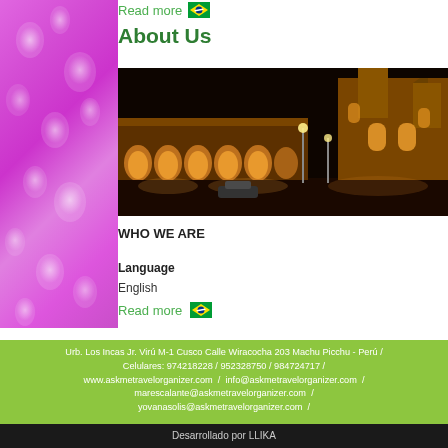[Figure (photo): Purple flowers close-up image used as decorative left panel]
Read more 🇧🇷
About Us
[Figure (photo): Night photograph of Plaza de Armas in Cusco, Peru showing illuminated colonial buildings and cathedral]
WHO WE ARE
Language
English
Read more 🇧🇷
Urb. Los Incas Jr. Virú M-1 Cusco Calle Wiracocha 203 Machu Picchu - Perú / Celulares: 974218228 / 952328750 / 984724717 / www.askmetravelorganizer.com / info@askmetravelorganizer.com / marescalante@askmetravelorganizer.com / yovanasolis@askmetravelorganizer.com /
Desarrollado por LLIKA